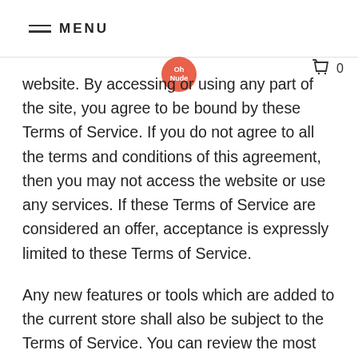MENU
website. By accessing or using any part of the site, you agree to be bound by these Terms of Service. If you do not agree to all the terms and conditions of this agreement, then you may not access the website or use any services. If these Terms of Service are considered an offer, acceptance is expressly limited to these Terms of Service.
Any new features or tools which are added to the current store shall also be subject to the Terms of Service. You can review the most current version of the Terms of Service at any time on this page. We reserve the right to update, change or